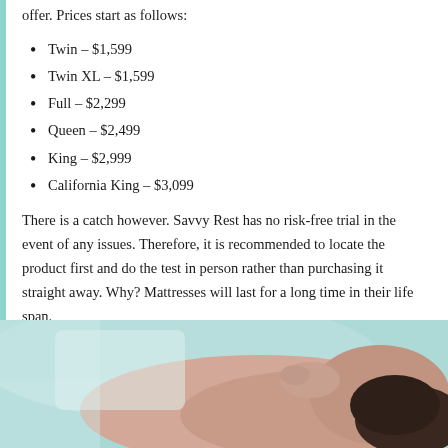offer. Prices start as follows:
Twin – $1,599
Twin XL – $1,599
Full – $2,299
Queen – $2,499
King – $2,999
California King – $3,099
There is a catch however. Savvy Rest has no risk-free trial in the event of any issues. Therefore, it is recommended to locate the product first and do the test in person rather than purchasing it straight away. Why? Mattresses will last for a long time in their life span.
[Figure (photo): Person lying on a mattress, viewed from above, with teal/aqua background suggesting bedding.]